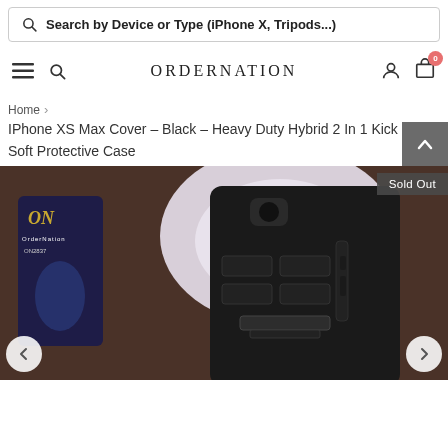Search by Device or Type (iPhone X, Tripods...)
ORDERNATION — navigation bar with hamburger, search, account, cart (0)
Home > IPhone XS Max Cover - Black - Heavy Duty Hybrid 2 In 1 Kick Stand Soft Protective Case
[Figure (photo): Product photo of a black heavy duty hybrid kick stand protective case for iPhone XS Max, shown on a wooden surface next to a white saucer and an OrderNation branded package. A 'Sold Out' badge overlays the top right of the image.]